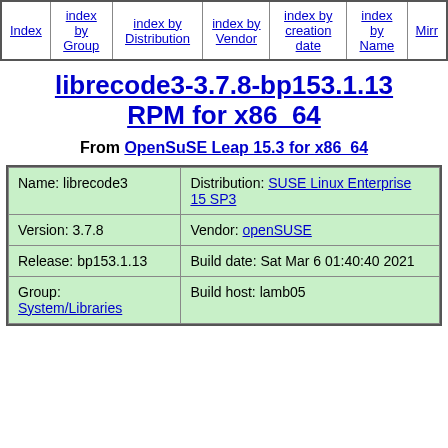| Index | index by Group | index by Distribution | index by Vendor | index by creation date | index by Name | Mirr… |
| --- | --- | --- | --- | --- | --- | --- |
|  |
librecode3-3.7.8-bp153.1.13 RPM for x86_64
From OpenSuSE Leap 15.3 for x86_64
| Name: librecode3 | Distribution: SUSE Linux Enterprise 15 SP3 |
| Version: 3.7.8 | Vendor: openSUSE |
| Release: bp153.1.13 | Build date: Sat Mar 6 01:40:40 2021 |
| Group: System/Libraries | Build host: lamb05 |